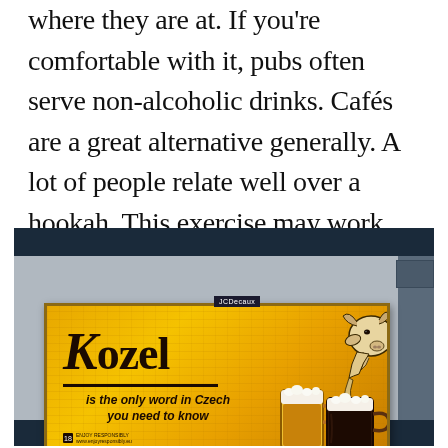where they are at. If you're comfortable with it, pubs often serve non-alcoholic drinks. Cafés are a great alternative generally. A lot of people relate well over a hookah. This exercise may work better on the weekends when people are generally in a different mindset and want to let loose.
[Figure (photo): A photo of a Kozel beer billboard advertisement displayed on a digital screen. The billboard has a golden/amber wooden background with dark text reading 'Kozel is the only word in Czech you need to know', accompanied by an illustration of a goat and beer mugs. A JCDecaux logo label is visible above the billboard.]